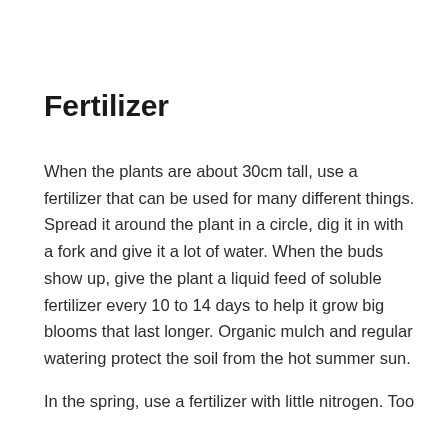Fertilizer
When the plants are about 30cm tall, use a fertilizer that can be used for many different things. Spread it around the plant in a circle, dig it in with a fork and give it a lot of water. When the buds show up, give the plant a liquid feed of soluble fertilizer every 10 to 14 days to help it grow big blooms that last longer. Organic mulch and regular watering protect the soil from the hot summer sun.
In the spring, use a fertilizer with little nitrogen. Too